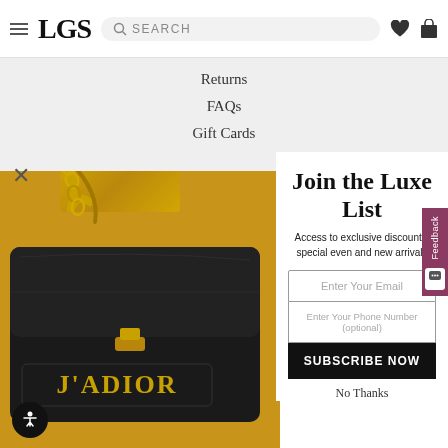LGS SEARCH
Returns
FAQs
Gift Cards
[Figure (photo): Luxury black leather J'ADIOR bag with gold chain strap on yellow background]
Join the Luxe List
Access to exclusive discounts, special events and new arrivals
Enter Your Email
Enter Your Phone Number (optional)
SUBSCRIBE NOW
No Thanks